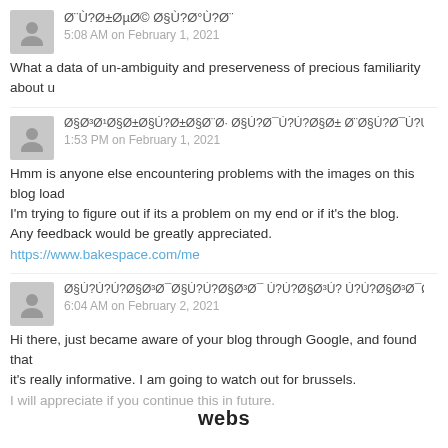Ø¨Ù?Ø±ØµØ© Ø§Ù?Ø°Ù?Ø¨
5:08 AM on February 1, 2021
What a data of un-ambiguity and preserveness of precious familiarity about u
Ø§Ø³Ø¹Ø§Ø±Ø§Ù?Ø±Ø§Ø¨Ø·Ø¨Ø§Ù?Ø¯Ù?Ù?Ø§Ø§Ù?Ù?Ù?Ù?
1:53 PM on February 1, 2021
Hmm is anyone else encountering problems with the images on this blog load.
I'm trying to figure out if its a problem on my end or if it's the blog.
Any feedback would be greatly appreciated. https://www.bakespace.com/me
Ø§Ù?Ù?Ù?Ø§Ø³Ø¯Ø§Ù?Ù?Ù?Ø§Ù?Ù?Ø§Ø§Ù?Ø§Ù?Ø¯Ø§Ù?Ù?Ø§Ø³Ø¯Ø±Ø§Ø³Ø±Ø§Ù?Ø¯Ø§Ø³
6:04 AM on February 2, 2021
Hi there, just became aware of your blog through Google, and found that it's really informative. I am going to watch out for brussels.
I will appreciate if you continue this in future.
webs